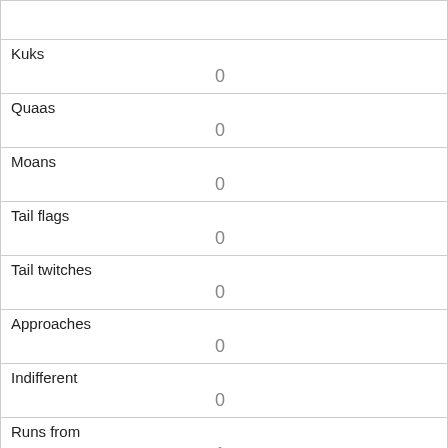| Field | Value |
| --- | --- |
| Kuks | 0 |
| Quaas | 0 |
| Moans | 0 |
| Tail flags | 0 |
| Tail twitches | 0 |
| Approaches | 0 |
| Indifferent | 0 |
| Runs from | 1 |
| Other Interactions |  |
| Lat/Long |  |